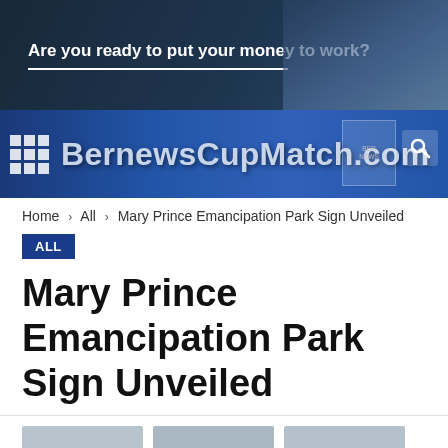[Figure (photo): Advertisement banner with text 'Are you ready to put your money to work?' on dark blue background with person photo on right]
[Figure (logo): BernewsCupMatch.com site navigation banner with grid icon and search icon on blue gradient background]
Home › All › Mary Prince Emancipation Park Sign Unveiled
ALL
Mary Prince Emancipation Park Sign Unveiled
[Figure (photo): Three image thumbnails in a row for article about Mary Prince Emancipation Park Sign Unveiled]